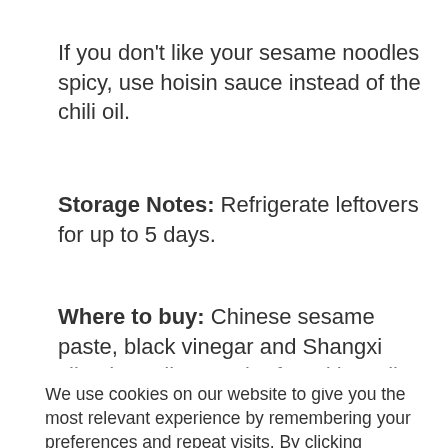If you don't like your sesame noodles spicy, use hoisin sauce instead of the chili oil.
Storage Notes: Refrigerate leftovers for up to 5 days.
Where to buy: Chinese sesame paste, black vinegar and Shangxi sliced noodles can be found in well-stocked Asian supermarkets.
We use cookies on our website to give you the most relevant experience by remembering your preferences and repeat visits. By clicking “Accept All”, you consent to the use of ALL the cookies. However, you may visit "Cookie Settings" to provide a controlled consent.